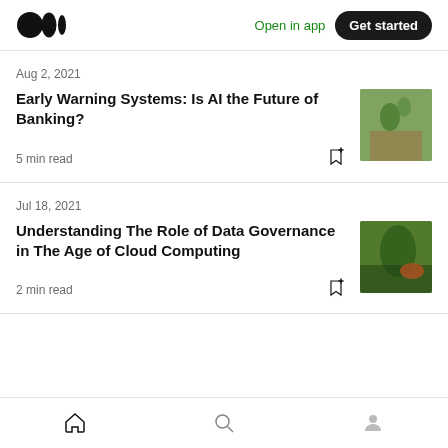Medium logo | Open in app | Get started
Aug 2, 2021
Early Warning Systems: Is AI the Future of Banking?
5 min read
[Figure (photo): Thumbnail image for Early Warning Systems article]
Jul 18, 2021
Understanding The Role of Data Governance in The Age of Cloud Computing
2 min read
[Figure (photo): Thumbnail image for Data Governance article]
Home | Search | Profile navigation icons